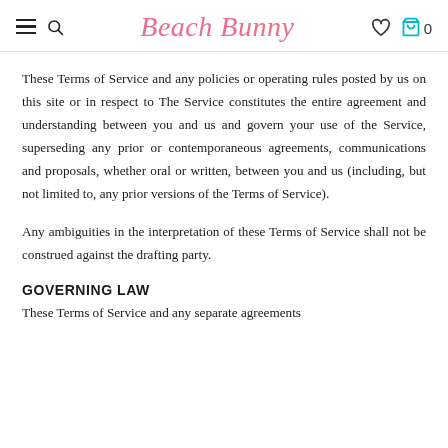Beach Bunny
These Terms of Service and any policies or operating rules posted by us on this site or in respect to The Service constitutes the entire agreement and understanding between you and us and govern your use of the Service, superseding any prior or contemporaneous agreements, communications and proposals, whether oral or written, between you and us (including, but not limited to, any prior versions of the Terms of Service).
Any ambiguities in the interpretation of these Terms of Service shall not be construed against the drafting party.
GOVERNING LAW
These Terms of Service and any separate agreements